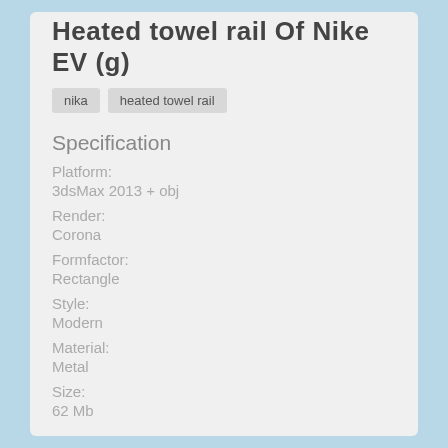Heated towel rail Of Nike EV (g)
nika
heated towel rail
Specification
Platform:
3dsMax 2013 + obj
Render:
Corona
Formfactor:
Rectangle
Style:
Modern
Material:
Metal
Size:
62 Mb